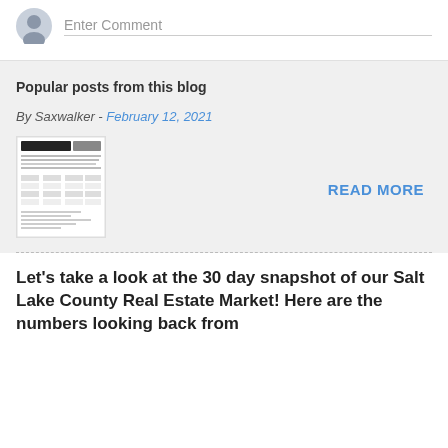[Figure (illustration): User avatar icon (gray silhouette) next to 'Enter Comment' placeholder text with underline]
Popular posts from this blog
By Saxwalker - February 12, 2021
[Figure (screenshot): Thumbnail image of a real estate report document]
READ MORE
Let's take a look at the 30 day snapshot of our Salt Lake County Real Estate Market! Here are the numbers looking back from